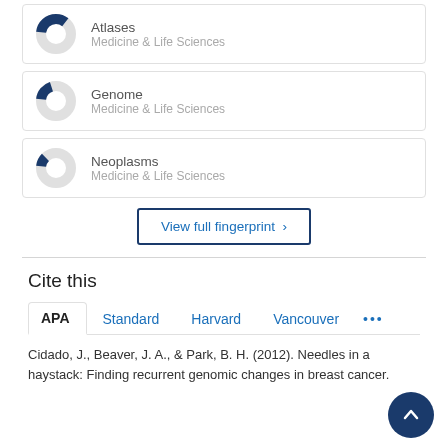[Figure (donut-chart): Donut chart for Atlases, Medicine & Life Sciences, small blue segment]
Atlases
Medicine & Life Sciences
[Figure (donut-chart): Donut chart for Genome, Medicine & Life Sciences, small blue segment]
Genome
Medicine & Life Sciences
[Figure (donut-chart): Donut chart for Neoplasms, Medicine & Life Sciences, very small blue segment]
Neoplasms
Medicine & Life Sciences
View full fingerprint ›
Cite this
APA   Standard   Harvard   Vancouver   •••
Cidado, J., Beaver, J. A., & Park, B. H. (2012). Needles in a haystack: Finding recurrent genomic changes in breast cancer.